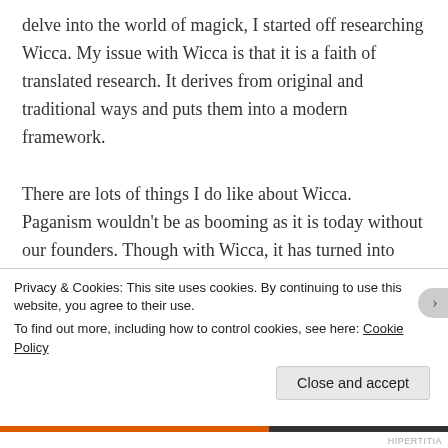delve into the world of magick, I started off researching Wicca. My issue with Wicca is that it is a faith of translated research. It derives from original and traditional ways and puts them into a modern framework.
There are lots of things I do like about Wicca. Paganism wouldn't be as booming as it is today without our founders. Though with Wicca, it has turned into solely white magic or those on the right-hand path. I understand
Privacy & Cookies: This site uses cookies. By continuing to use this website, you agree to their use.
To find out more, including how to control cookies, see here: Cookie Policy
Close and accept